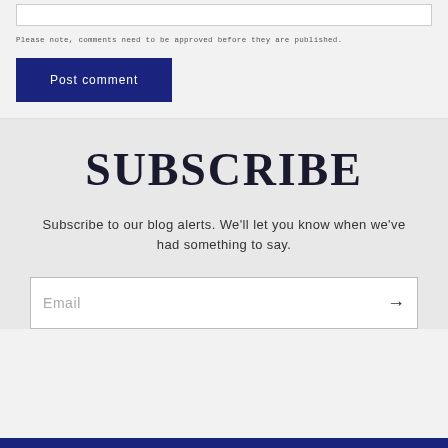Please note, comments need to be approved before they are published.
Post comment
SUBSCRIBE
Subscribe to our blog alerts. We'll let you know when we've had something to say.
Email